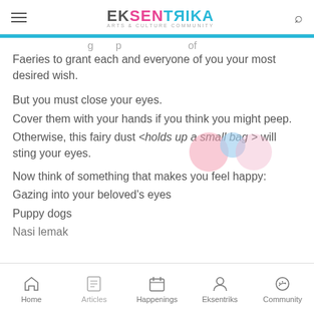EKSENTRIКА — Arts & Culture Community
Faeries to grant each and everyone of you your most desired wish.

But you must close your eyes.
Cover them with your hands if you think you might peep.
Otherwise, this fairy dust <holds up a small bag > will sting your eyes.

Now think of something that makes you feel happy:
Gazing into your beloved's eyes
Puppy dogs
Nasi lemak
Home | Articles | Happenings | Eksentriks | Community